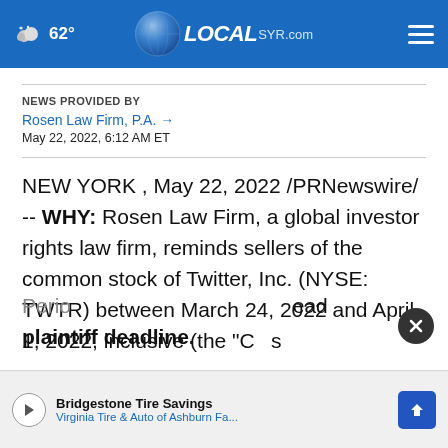62° LOCAL SYR.com
NEWS PROVIDED BY
Rosen Law Firm, P.A. →
May 22, 2022, 6:12 AM ET
NEW YORK , May 22, 2022 /PRNewswire/ -- WHY: Rosen Law Firm, a global investor rights law firm, reminds sellers of the common stock of Twitter, Inc. (NYSE: TWTR) between March 24, 2022 and April 1, 2022, inclusive (the "Class Period"), to read the lead plaintiff deadline.